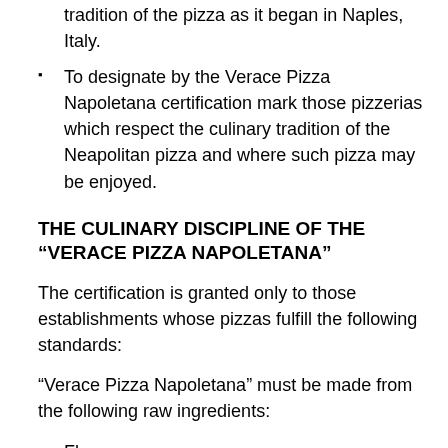tradition of the pizza as it began in Naples, Italy.
To designate by the Verace Pizza Napoletana certification mark those pizzerias which respect the culinary tradition of the Neapolitan pizza and where such pizza may be enjoyed.
THE CULINARY DISCIPLINE OF THE “VERACE PIZZA NAPOLETANA”
The certification is granted only to those establishments whose pizzas fulfill the following standards:
“Verace Pizza Napoletana” must be made from the following raw ingredients:
Flour
Natural Yeast, Yeast of Beer
Water